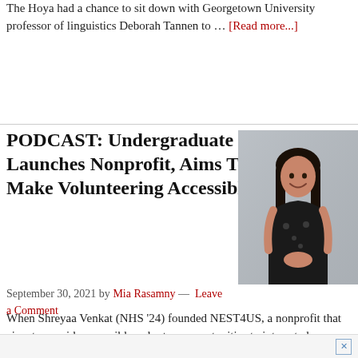The Hoya had a chance to sit down with Georgetown University professor of linguistics Deborah Tannen to … [Read more...]
PODCAST: Undergraduate Launches Nonprofit, Aims To Make Volunteering Accessible
[Figure (photo): Photo of Shreyaa Venkat, a young woman with long dark hair wearing a black floral sleeveless dress, smiling, against a gray background.]
September 30, 2021 by Mia Rasamny — Leave a Comment
When Shreyaa Venkat (NHS '24) founded NEST4US, a nonprofit that aims to provide accessible volunteer opportunities to interested … [Read more...]